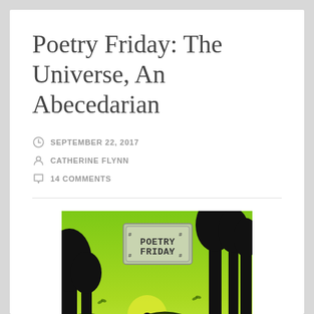Poetry Friday: The Universe, An Abecedarian
SEPTEMBER 22, 2017
CATHERINE FLYNN
14 COMMENTS
[Figure (illustration): A green-themed illustration with silhouettes of trees and children playing, featuring a 'Poetry Friday' sign/logo in the upper center area. The background transitions from bright green to yellow-green with a glowing sun effect. Silhouetted figures of children with raised arms are visible in the foreground along with tall tree silhouettes.]